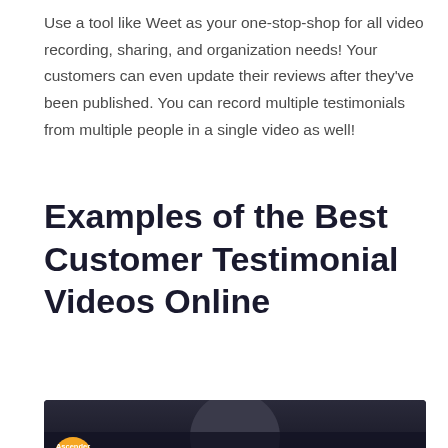Use a tool like Weet as your one-stop-shop for all video recording, sharing, and organization needs! Your customers can even update their reviews after they've been published. You can record multiple testimonials from multiple people in a single video as well!
Examples of the Best Customer Testimonial Videos Online
[Figure (screenshot): YouTube-style video thumbnail preview showing a dark background with a woman's face partially visible. A bottom bar shows an orange circular logo labeled 'Ascender' next to the text '2019 Customer Testimonial ...' and a three-dot menu icon.]